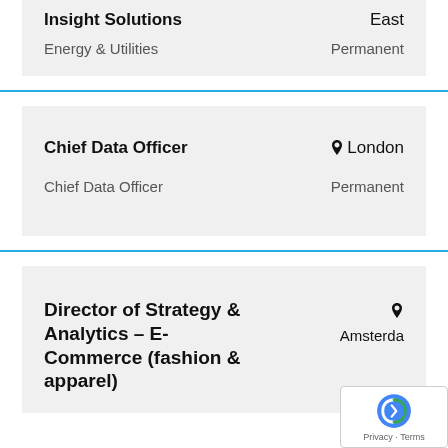Insight Solutions
East
Energy & Utilities
Permanent
Chief Data Officer
London
Chief Data Officer
Permanent
Director of Strategy & Analytics – E-Commerce (fashion & apparel)
Amsterdam